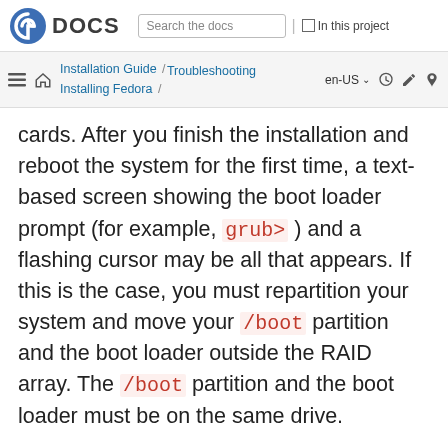Fedora DOCS | Search the docs | In this project
Installation Guide / Installing Fedora / Troubleshooting | en-US
cards. After you finish the installation and reboot the system for the first time, a text-based screen showing the boot loader prompt (for example, grub> ) and a flashing cursor may be all that appears. If this is the case, you must repartition your system and move your /boot partition and the boot loader outside the RAID array. The /boot partition and the boot loader must be on the same drive.
Once these changes have been made, you should be able to finish your installation and boot the system properly. For more information about